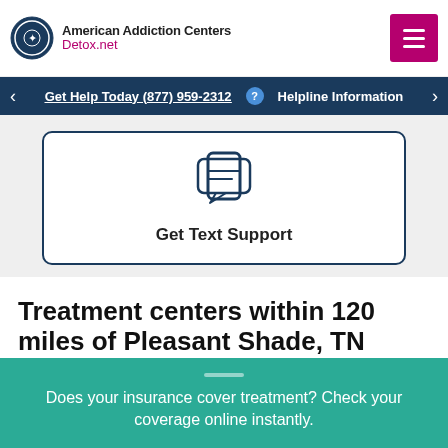American Addiction Centers Detox.net
Get Help Today (877) 959-2312 ? Helpline Information
[Figure (illustration): Chat/text bubble icon inside a rounded rectangle card with dark blue border, representing Get Text Support]
Get Text Support
Treatment centers within 120 miles of Pleasant Shade, TN
Does your insurance cover treatment? Check your coverage online instantly.